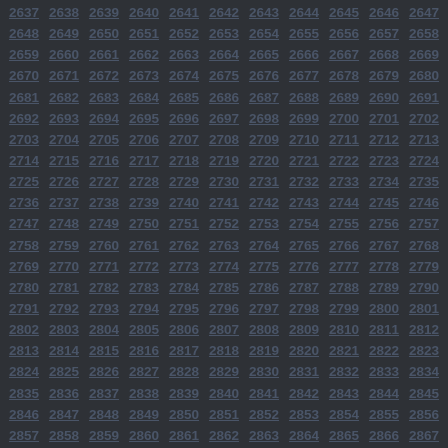2637 2638 2639 2640 2641 2642 2643 2644 2645 2646 2647
2648 2649 2650 2651 2652 2653 2654 2655 2656 2657 2658
2659 2660 2661 2662 2663 2664 2665 2666 2667 2668 2669
2670 2671 2672 2673 2674 2675 2676 2677 2678 2679 2680
2681 2682 2683 2684 2685 2686 2687 2688 2689 2690 2691
2692 2693 2694 2695 2696 2697 2698 2699 2700 2701 2702
2703 2704 2705 2706 2707 2708 2709 2710 2711 2712 2713
2714 2715 2716 2717 2718 2719 2720 2721 2722 2723 2724
2725 2726 2727 2728 2729 2730 2731 2732 2733 2734 2735
2736 2737 2738 2739 2740 2741 2742 2743 2744 2745 2746
2747 2748 2749 2750 2751 2752 2753 2754 2755 2756 2757
2758 2759 2760 2761 2762 2763 2764 2765 2766 2767 2768
2769 2770 2771 2772 2773 2774 2775 2776 2777 2778 2779
2780 2781 2782 2783 2784 2785 2786 2787 2788 2789 2790
2791 2792 2793 2794 2795 2796 2797 2798 2799 2800 2801
2802 2803 2804 2805 2806 2807 2808 2809 2810 2811 2812
2813 2814 2815 2816 2817 2818 2819 2820 2821 2822 2823
2824 2825 2826 2827 2828 2829 2830 2831 2832 2833 2834
2835 2836 2837 2838 2839 2840 2841 2842 2843 2844 2845
2846 2847 2848 2849 2850 2851 2852 2853 2854 2855 2856
2857 2858 2859 2860 2861 2862 2863 2864 2865 2866 2867